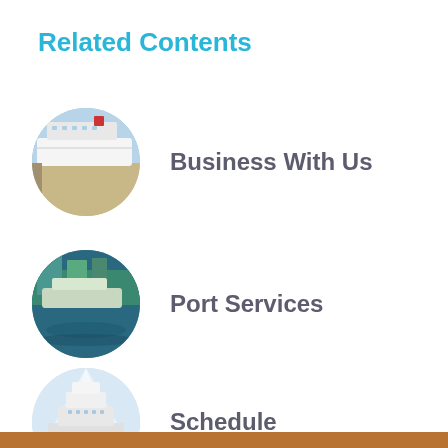Related Contents
Business With Us
Port Services
Schedule